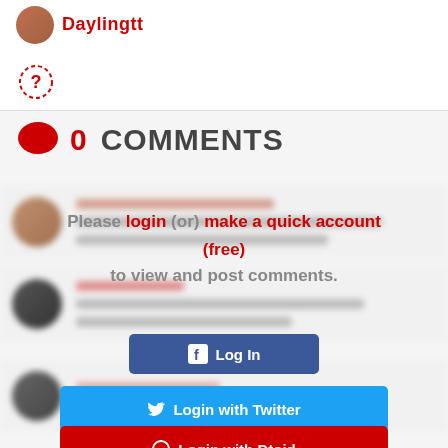[Figure (screenshot): User avatar thumbnail in top-left corner]
Daylingtt
[Figure (other): Question mark icon in dashed circle]
0 COMMENTS
[Figure (other): Blurred comment rows showing hidden user comments]
Please login (or) make a quick account (free) to view and post comments.
[Figure (other): Facebook Log In button]
[Figure (other): Login with Twitter button]
[Figure (other): Login with Dtoid button (partially visible)]